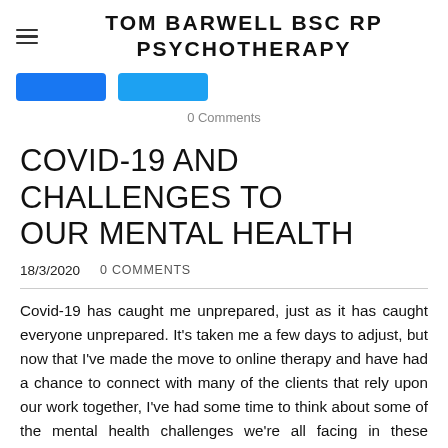TOM BARWELL BSC RP
PSYCHOTHERAPY
[Figure (other): Two social media share/follow buttons (Facebook blue and Twitter blue)]
0 Comments
COVID-19 AND CHALLENGES TO OUR MENTAL HEALTH
18/3/2020    0 COMMENTS
Covid-19 has caught me unprepared, just as it has caught everyone unprepared.  It's taken me a few days to adjust, but now that I've made the move to online therapy and have had a chance to connect with many of the clients that rely upon our work together, I've had some time to think about some of the mental health challenges we're all facing in these unprecedented times.  My thoughts are by no means exhaustive, and I hope to add further information and articles as we progress through this event together.